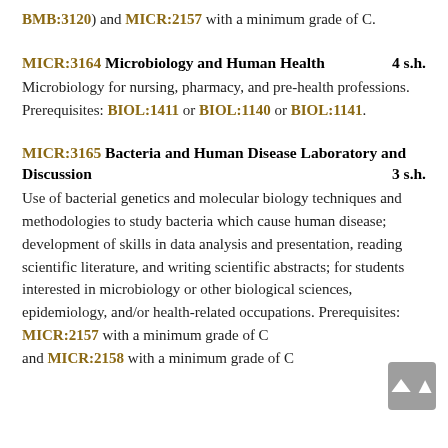BMB:3120) and MICR:2157 with a minimum grade of C.
MICR:3164 Microbiology and Human Health 4 s.h.
Microbiology for nursing, pharmacy, and pre-health professions. Prerequisites: BIOL:1411 or BIOL:1140 or BIOL:1141.
MICR:3165 Bacteria and Human Disease Laboratory and Discussion 3 s.h.
Use of bacterial genetics and molecular biology techniques and methodologies to study bacteria which cause human disease; development of skills in data analysis and presentation, reading scientific literature, and writing scientific abstracts; for students interested in microbiology or other biological sciences, epidemiology, and/or health-related occupations. Prerequisites: MICR:2157 with a minimum grade of C and MICR:2158 with a minimum grade of C.